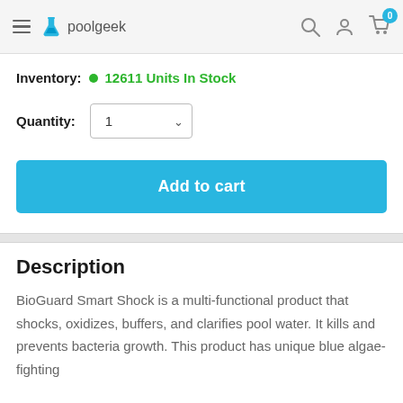poolgeek
Inventory: 12611 Units In Stock
Quantity: 1
Add to cart
Description
BioGuard Smart Shock is a multi-functional product that shocks, oxidizes, buffers, and clarifies pool water. It kills and prevents bacteria growth. This product has unique blue algae-fighting